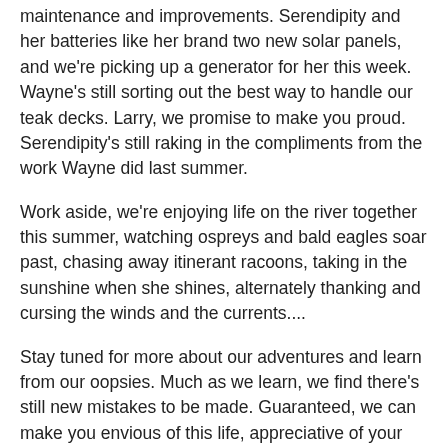maintenance and improvements. Serendipity and her batteries like her brand two new solar panels, and we're picking up a generator for her this week. Wayne's still sorting out the best way to handle our teak decks. Larry, we promise to make you proud. Serendipity's still raking in the compliments from the work Wayne did last summer.
Work aside, we're enjoying life on the river together this summer, watching ospreys and bald eagles soar past, chasing away itinerant racoons, taking in the sunshine when she shines, alternately thanking and cursing the winds and the currents....
Stay tuned for more about our adventures and learn from our oopsies. Much as we learn, we find there's still new mistakes to be made. Guaranteed, we can make you envious of this life, appreciative of your creature comforts, and give you some good laughs along the way.
Regardless of mishaps and sacrifices, life on the water is strangely addictive. For us, home is still where the boat is.